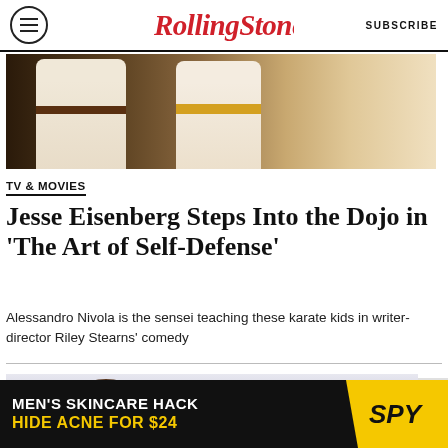RollingStone  SUBSCRIBE
[Figure (photo): Two karate practitioners in white gis bowing or sparring, one with a brown belt and one with a yellow belt, in a dojo setting]
TV & MOVIES
Jesse Eisenberg Steps Into the Dojo in 'The Art of Self-Defense'
Alessandro Nivola is the sensei teaching these karate kids in writer-director Riley Stearns' comedy
[Figure (photo): Scene from The Art of Self-Defense showing people in an interior setting]
[Figure (other): Advertisement: MEN'S SKINCARE HACK HIDE ACNE FOR $24 - SPY]